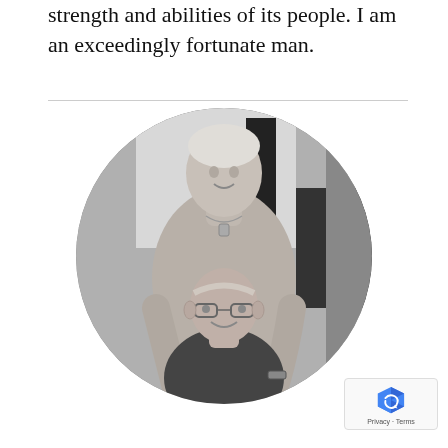strength and abilities of its people. I am an exceedingly fortunate man.
[Figure (photo): Black and white circular photo of an elderly couple. A woman with short hair stands behind, smiling, wearing a light-colored turtleneck sweater with a necklace. An elderly man wearing glasses sits in front of her, also smiling.]